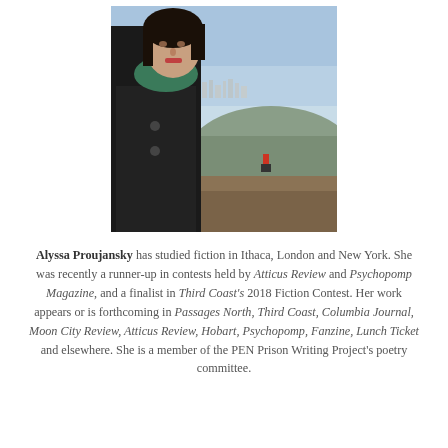[Figure (photo): A woman with dark hair wearing a black coat and green scarf, photographed outdoors with a city skyline and hillside vista in the background under a blue sky.]
Alyssa Proujansky has studied fiction in Ithaca, London and New York. She was recently a runner-up in contests held by Atticus Review and Psychopomp Magazine, and a finalist in Third Coast's 2018 Fiction Contest. Her work appears or is forthcoming in Passages North, Third Coast, Columbia Journal, Moon City Review, Atticus Review, Hobart, Psychopomp, Fanzine, Lunch Ticket and elsewhere. She is a member of the PEN Prison Writing Project's poetry committee.